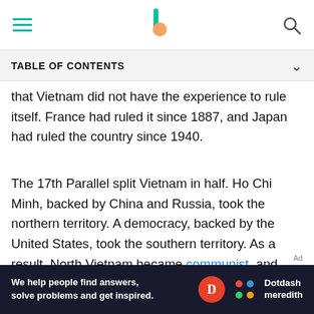Navigation bar with hamburger menu, logo, and search icon
TABLE OF CONTENTS
that Vietnam did not have the experience to rule itself. France had ruled it since 1887, and Japan had ruled the country since 1940.
The 17th Parallel split Vietnam in half. Ho Chi Minh, backed by China and Russia, took the northern territory. A democracy, backed by the United States, took the southern territory. As a result, North Vietnam became communist, and South Vietnam based its economy on capitalism.
[Figure (screenshot): Dotdash Meredith advertisement banner: 'We help people find answers, solve problems and get inspired.' with D logo and Dotdash Meredith branding]